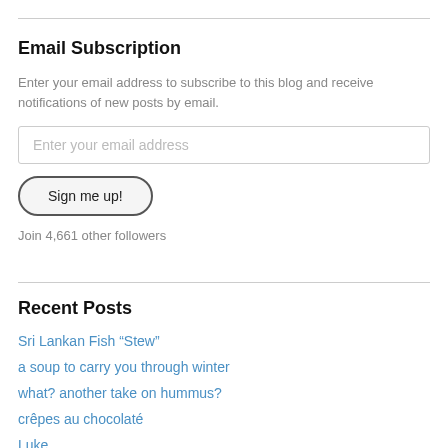Email Subscription
Enter your email address to subscribe to this blog and receive notifications of new posts by email.
Enter your email address
Sign me up!
Join 4,661 other followers
Recent Posts
Sri Lankan Fish “Stew”
a soup to carry you through winter
what? another take on hummus?
crêpes au chocolaté
Luke